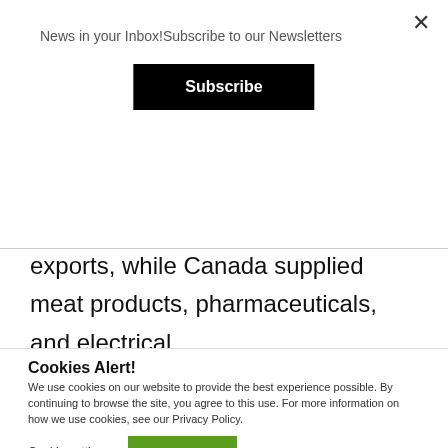News in your Inbox!Subscribe to our Newsletters
Subscribe
aluminum oxides, foods, beverages, and spirits totalling $84.4 million in exports, while Canada supplied meat products, pharmaceuticals, and electrical
Cookies Alert!
We use cookies on our website to provide the best experience possible. By continuing to browse the site, you agree to this use. For more information on how we use cookies, see our Privacy Policy.
Cookie settings
ACCEPT